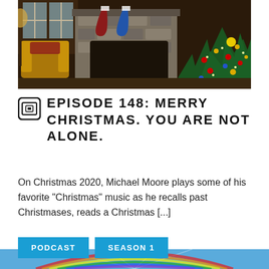[Figure (photo): Interior room with a decorated Christmas tree on the right side, a stone fireplace in the center with stockings, and an armchair on the left near windows. Warm holiday atmosphere.]
EPISODE 148: MERRY CHRISTMAS. YOU ARE NOT ALONE.
On Christmas 2020, Michael Moore plays some of his favorite “Christmas” music as he recalls past Christmases, reads a Christmas […]
PODCAST
SEASON 1
[Figure (photo): Blue sky with a rainbow arc and light rays, partially visible at the bottom of the page.]